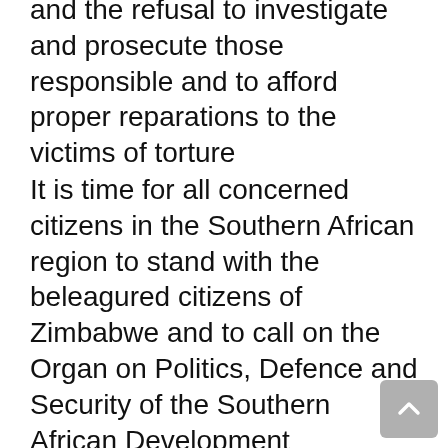and the refusal to investigate and prosecute those responsible and to afford proper reparations to the victims of torture
It is time for all concerned citizens in the Southern African region to stand with the beleagured citizens of Zimbabwe and to call on the Organ on Politics, Defence and Security of the Southern African Development Community and on the Peace and Security Council of the African Union to authorise urgent interventions to stop the killings, mutilations and gross human rights violations including torture, being perpetrated against Zimbabwean citizens, given the failure of the exhaustive efforts of member states in the region to resolve the situation through alternative peaceful